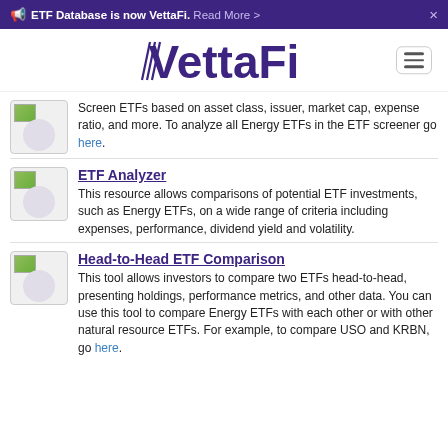ETF Database is now VettaFi. Read More >
[Figure (logo): VettaFi logo in dark purple with stylized V and hamburger menu icon]
Screen ETFs based on asset class, issuer, market cap, expense ratio, and more. To analyze all Energy ETFs in the ETF screener go here.
ETF Analyzer
This resource allows comparisons of potential ETF investments, such as Energy ETFs, on a wide range of criteria including expenses, performance, dividend yield and volatility.
Head-to-Head ETF Comparison
This tool allows investors to compare two ETFs head-to-head, presenting holdings, performance metrics, and other data. You can use this tool to compare Energy ETFs with each other or with other natural resource ETFs. For example, to compare USO and KRBN, go here.